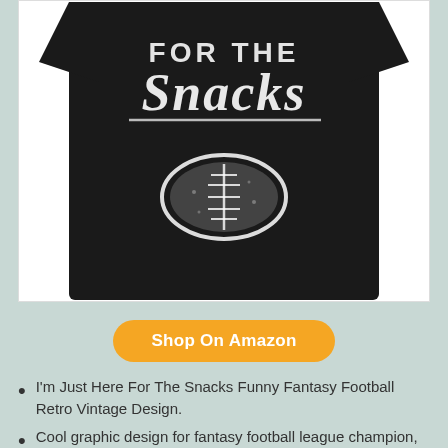[Figure (photo): Black t-shirt with white distressed graphic text reading 'For The Snacks' with a vintage-style football illustration below the text.]
Shop On Amazon
I'm Just Here For The Snacks Funny Fantasy Football Retro Vintage Design.
Cool graphic design for fantasy football league champion, draft party champ, fantasy football legend, fantasy football queen, fantasy football